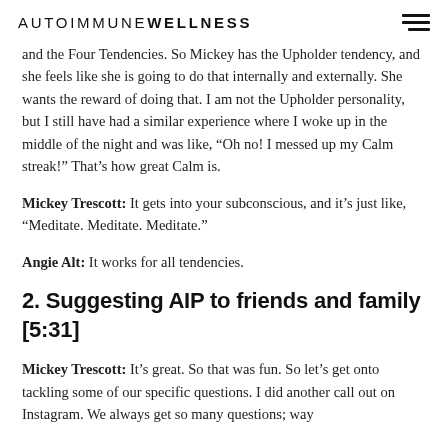AUTOIMMUNE WELLNESS
and the Four Tendencies. So Mickey has the Upholder tendency, and she feels like she is going to do that internally and externally. She wants the reward of doing that. I am not the Upholder personality, but I still have had a similar experience where I woke up in the middle of the night and was like, “Oh no! I messed up my Calm streak!” That’s how great Calm is.
Mickey Trescott: It gets into your subconscious, and it’s just like, “Meditate. Meditate. Meditate.”
Angie Alt: It works for all tendencies.
2. Suggesting AIP to friends and family [5:31]
Mickey Trescott: It’s great. So that was fun. So let’s get onto tackling some of our specific questions. I did another call out on Instagram. We always get so many questions; way